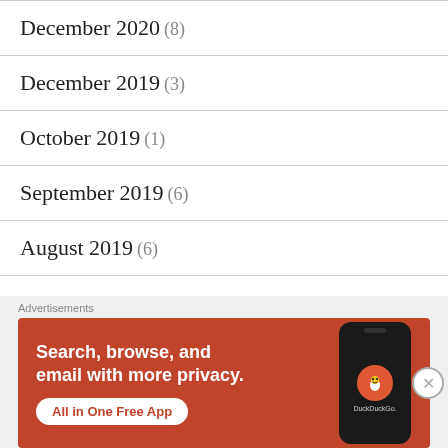December 2020 (8)
December 2019 (3)
October 2019 (1)
September 2019 (6)
August 2019 (6)
April 2019 (2)
March 2019 (1)
February 2019 (1)
[Figure (screenshot): DuckDuckGo advertisement banner: orange background with text 'Search, browse, and email with more privacy. All in One Free App' and a phone showing the DuckDuckGo logo. Labeled 'Advertisements' above.]